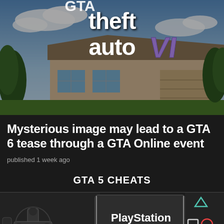[Figure (screenshot): GTA 6 logo overlaid on a suburban house scene with sky background]
Mysterious image may lead to a GTA 6 tease through a GTA Online event
published 1 week ago
GTA 5 CHEATS
[Figure (screenshot): PlayStation controller showing d-pad on left side and face buttons (triangle, square, circle) on right side, with PlayStation Cheats label in center]